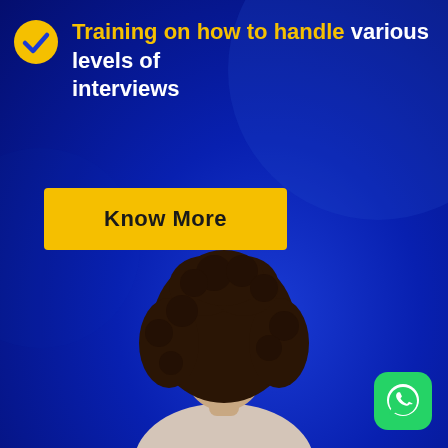Training on how to handle various levels of interviews
Know More
[Figure (photo): Young woman with curly dark hair, smiling, wearing a light-colored top, posed against a dark blue background]
[Figure (logo): WhatsApp icon — white phone-in-speech-bubble on green rounded square background]